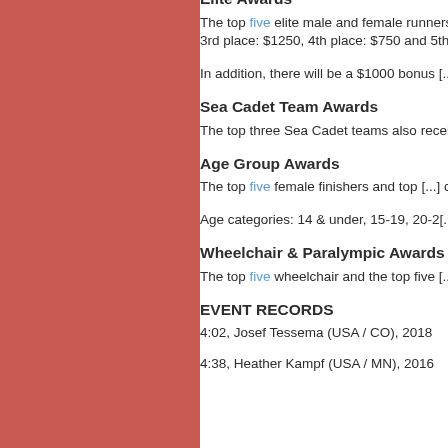[Figure (other): Red/coral colored decorative panel on the left side of the page]
Elite Awards
The top five elite male and female runners will receive the following cash awards: Champion: $3[...], 3rd place: $1250, 4th place: $750 and 5th p[...]
In addition, there will be a $1000 bonu[...] (men) or sub-4:35 (women).
Sea Cadet Team Awards
The top three Sea Cadet teams also r[...] $350 and $200.
Age Group Awards
The top five female finishers and top [...] cards: $200, $125, $75, $50 and $25.
Age categories: 14 & under, 15-19, 20-2[...]
Wheelchair & Paralympic Awards
The top five wheelchair and the top f[...] $100, $50 and $25.
EVENT RECORDS
4:02, Josef Tessema (USA / CO), 2018
4:38, Heather Kampf (USA / MN), 2016